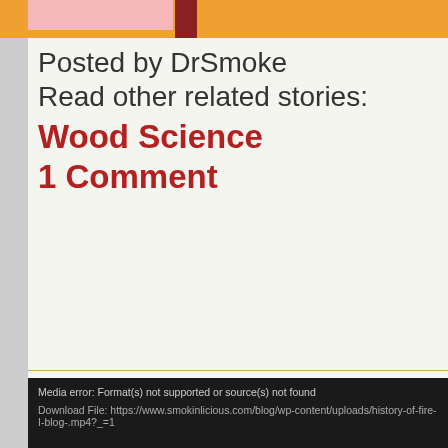Posted by DrSmoke
Read other related stories:
Wood Science
1 Comment
[Figure (screenshot): Media error box with dark background showing: 'Media error: Format(s) not supported or source(s) not found' and 'Download File: https://www.smokinlicious.com/blog/wp-content/uploads/history-of-fire-I-blog-.mp4?_=1']